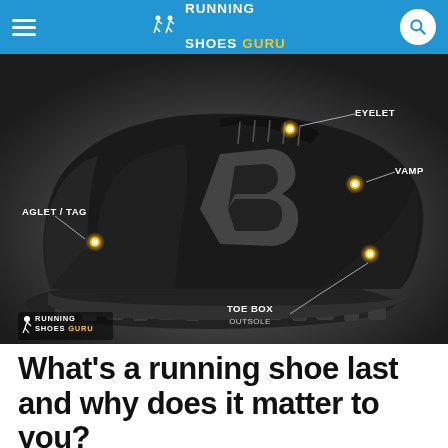RUNNING SHOES GURU
[Figure (illustration): An annotated infographic of a black Brooks running shoe showing labeled parts: AGLET/TAG, EYELET, VAMP, TOE BOX, OUTSOLE. Labels are connected to parts of the shoe with lines and glowing gold circle markers. The Running Shoes Guru logo/watermark appears in the bottom left corner.]
What's a running shoe last and why does it matter to you?